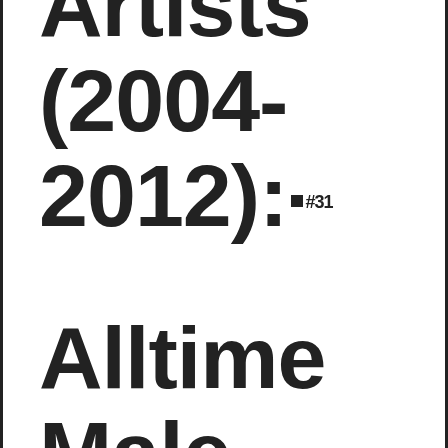…combined Artists (2004-2012): #31 Alltime Male (2004-